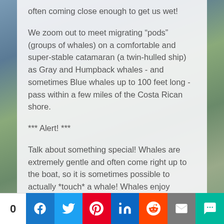often coming close enough to get us wet!
We zoom out to meet migrating “pods” (groups of whales) on a comfortable and super-stable catamaran (a twin-hulled ship) as Gray and Humpback whales - and sometimes Blue whales up to 100 feet long - pass within a few miles of the Costa Rican shore.
*** Alert! ***
Talk about something special! Whales are extremely gentle and often come right up to the boat, so it is sometimes possible to actually *touch* a whale! Whales enjoy interacting with boats and people, so much so that you could be greeted personally in a close approach – or by getting a
0  [Facebook] [Twitter] [Pinterest] [LinkedIn] [Reddit] [Mail] [SMS]